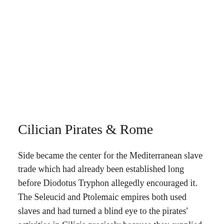Cilician Pirates & Rome
Side became the center for the Mediterranean slave trade which had already been established long before Diodotus Tryphon allegedly encouraged it. The Seleucid and Ptolemaic empires both used slaves and had turned a blind eye to the pirates' activities in Cilicia precisely because they supplied the empires with slaves. The